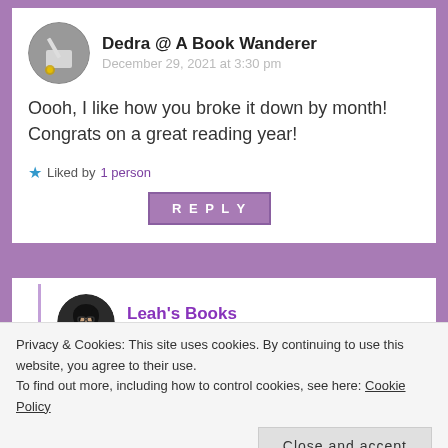Dedra @ A Book Wanderer
December 29, 2021 at 3:30 pm
Oooh, I like how you broke it down by month! Congrats on a great reading year!
Liked by 1 person
REPLY
Leah's Books
December 29, 2021 at 8:30 pm
Thank you! I just went back through my
Privacy & Cookies: This site uses cookies. By continuing to use this website, you agree to their use.
To find out more, including how to control cookies, see here: Cookie Policy
Close and accept